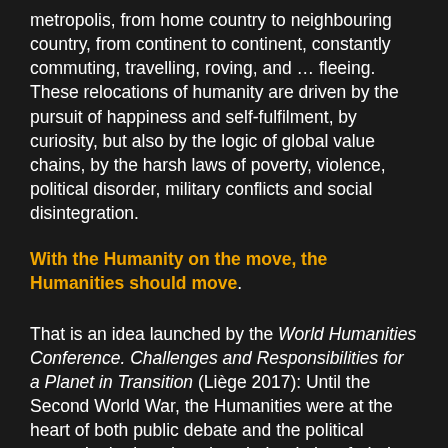metropolis, from home country to neighbouring country, from continent to continent, constantly commuting, travelling, roving, and … fleeing. These relocations of humanity are driven by the pursuit of happiness and self-fulfilment, by curiosity, but also by the logic of global value chains, by the harsh laws of poverty, violence, political disorder, military conflicts and social disintegration.
With the Humanity on the move, the Humanities should move.
That is an idea launched by the World Humanities Conference. Challenges and Responsibilities for a Planet in Transition (Liège 2017): Until the Second World War, the Humanities were at the heart of both public debate and the political arena. In the last decades, their role has faded and they have been marginalized. It is